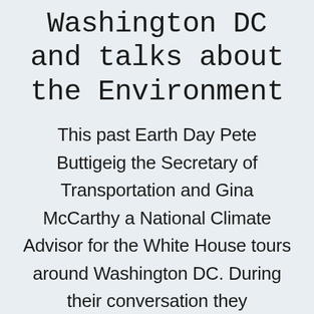Washington DC and talks about the Environment
This past Earth Day Pete Buttigeig the Secretary of Transportation and Gina McCarthy a National Climate Advisor for the White House tours around Washington DC. During their conversation they launch off the 2000 Cari...